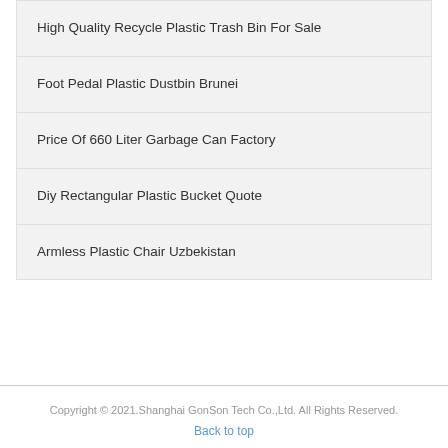High Quality Recycle Plastic Trash Bin For Sale
Foot Pedal Plastic Dustbin Brunei
Price Of 660 Liter Garbage Can Factory
Diy Rectangular Plastic Bucket Quote
Armless Plastic Chair Uzbekistan
Copyright © 2021.Shanghai GonSon Tech Co.,Ltd. All Rights Reserved.
Back to top